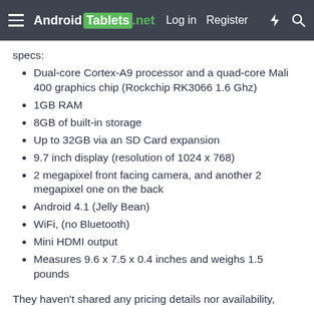Android Tablets .net  Log in  Register
specs:
Dual-core Cortex-A9 processor and a quad-core Mali 400 graphics chip (Rockchip RK3066 1.6 Ghz)
1GB RAM
8GB of built-in storage
Up to 32GB via an SD Card expansion
9.7 inch display (resolution of 1024 x 768)
2 megapixel front facing camera, and another 2 megapixel one on the back
Android 4.1 (Jelly Bean)
WiFi, (no Bluetooth)
Mini HDMI output
Measures 9.6 x 7.5 x 0.4 inches and weighs 1.5 pounds
They haven't shared any pricing details nor availability,